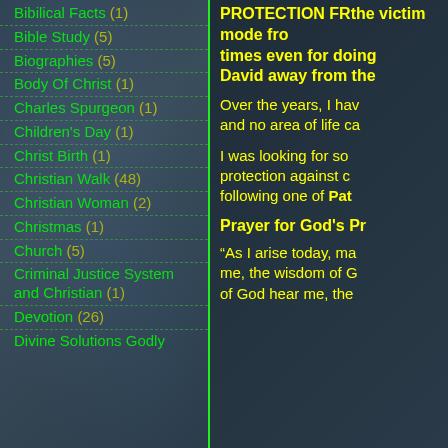Bibilical Facts (1)
Bible Study (5)
Biographies (5)
Body Of Christ (1)
Charles Spurgeon (1)
Children's Day (1)
Christ Birth (1)
Christian Walk (48)
Christian Woman (2)
Christmas (1)
Church (5)
Criminal Justice System and Christian (1)
Devotion (26)
Divine Solutions Godly
PROTECTION FR... the victim mode from... times even for doing... David away from the...
Over the years, I hav... and no area of life ca...
I was looking for so... protection against c... following one of Pat...
Prayer for God's Pr...
“As I arise today, ma... me, the wisdom of G... of God hear me, the...